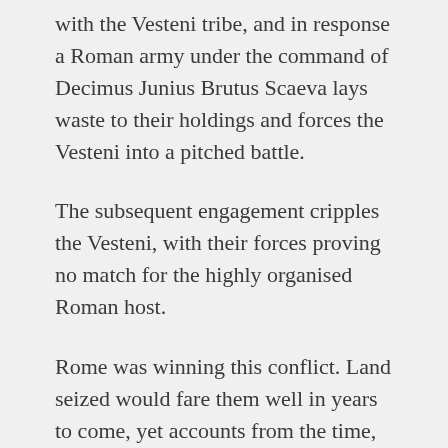with the Vesteni tribe, and in response a Roman army under the command of Decimus Junius Brutus Scaeva lays waste to their holdings and forces the Vesteni into a pitched battle.
The subsequent engagement cripples the Vesteni, with their forces proving no match for the highly organised Roman host.
Rome was winning this conflict. Land seized would fare them well in years to come, yet accounts from the time, specifically from Livy, highlight a particular lack of action from the Samnites.
Sporadic engagements occur, but as of yet no conclusive victory or defeat had been inflicted